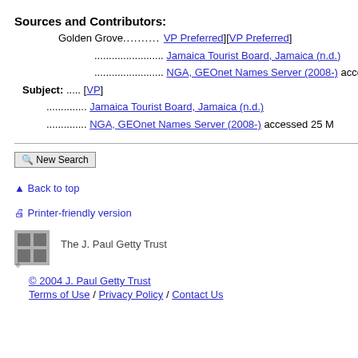Sources and Contributors:
Golden Grove.......... [VP Preferred]
........................ Jamaica Tourist Board, Jamaica (n.d.)
........................ NGA, GEOnet Names Server (2008-) access
Subject: ..... [VP]
.............. Jamaica Tourist Board, Jamaica (n.d.)
.............. NGA, GEOnet Names Server (2008-) accessed 25 M
New Search
Back to top
Printer-friendly version
The J. Paul Getty Trust
© 2004 J. Paul Getty Trust
Terms of Use / Privacy Policy / Contact Us